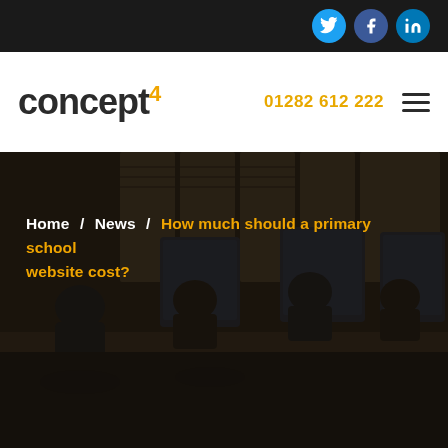concept4 | 01282 612 222
[Figure (screenshot): Dark hero background image showing office workers sitting at computer workstations in a dimly lit office environment, used as a full-width banner background with dark overlay]
Home / News / How much should a primary school website cost?